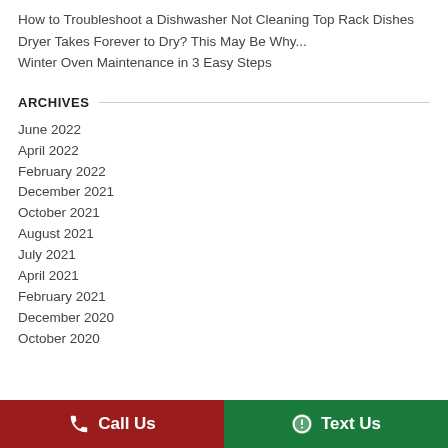How to Troubleshoot a Dishwasher Not Cleaning Top Rack Dishes
Dryer Takes Forever to Dry? This May Be Why...
Winter Oven Maintenance in 3 Easy Steps
ARCHIVES
June 2022
April 2022
February 2022
December 2021
October 2021
August 2021
July 2021
April 2021
February 2021
December 2020
October 2020
Call Us   Text Us